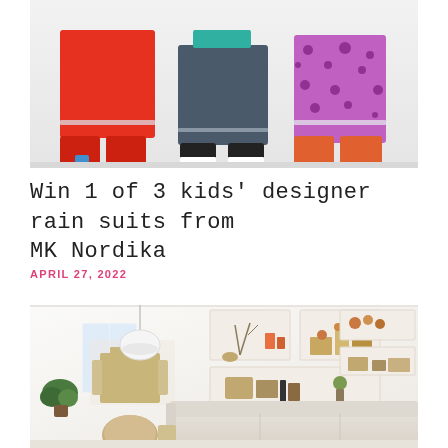[Figure (photo): Three children wearing designer rain suits/pants from the lower torso down. Left child wears red rain pants with reflective stripe and red boots, center child wears dark navy/grey rain pants with black sneakers, right child wears purple leopard-print rain pants with reflective stripe and orange boots. White/light grey background.]
Win 1 of 3 kids' designer rain suits from MK Nordika
APRIL 27, 2022
[Figure (photo): Interior living room scene with a bright, minimalist Scandinavian-style design. White walls with built-in rectangular shelving niches containing decorative objects. A cream/beige sectional sofa in the foreground, a round wooden coffee table, pendant lamp hanging from the ceiling, indoor plants, and a dining area visible in the background through an open layout.]